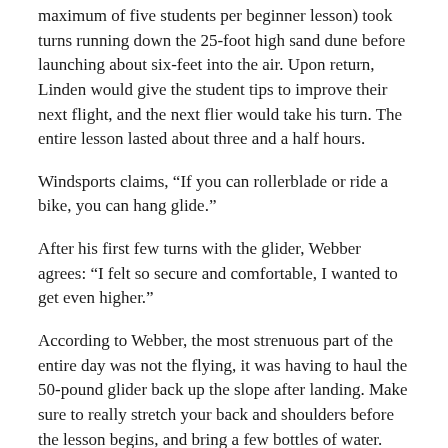maximum of five students per beginner lesson) took turns running down the 25-foot high sand dune before launching about six-feet into the air. Upon return, Linden would give the student tips to improve their next flight, and the next flier would take his turn. The entire lesson lasted about three and a half hours.
Windsports claims, “If you can rollerblade or ride a bike, you can hang glide.”
After his first few turns with the glider, Webber agrees: “I felt so secure and comfortable, I wanted to get even higher.”
According to Webber, the most strenuous part of the entire day was not the flying, it was having to haul the 50-pound glider back up the slope after landing. Make sure to really stretch your back and shoulders before the lesson begins, and bring a few bottles of water.
When asked if he plans on going back to Windsports for another lesson, Webber wholeheartedly says, “Of course!”